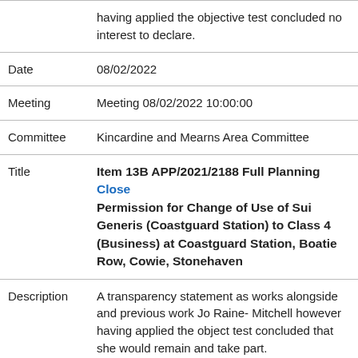having applied the objective test concluded no interest to declare.
| Field | Value |
| --- | --- |
| Date | 08/02/2022 |
| Meeting | Meeting 08/02/2022 10:00:00 |
| Committee | Kincardine and Mearns Area Committee |
| Title | Item 13B APP/2021/2188 Full Planning Close Permission for Change of Use of Sui Generis (Coastguard Station) to Class 4 (Business) at Coastguard Station, Boatie Row, Cowie, Stonehaven |
| Description | A transparency statement as works alongside and previous work Jo Raine- Mitchell however having applied the object test concluded that she would remain and take part. |
| Date | 08/02/2022 |